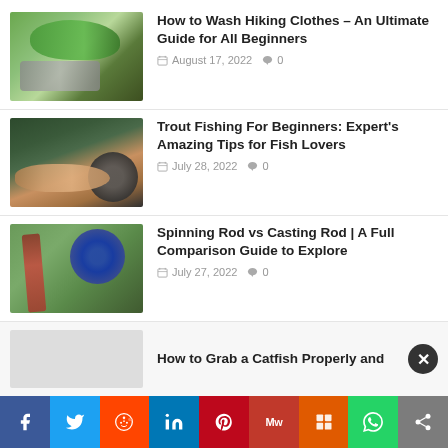How to Wash Hiking Clothes – An Ultimate Guide for All Beginners
August 17, 2022  0
Trout Fishing For Beginners: Expert's Amazing Tips for Fish Lovers
July 28, 2022  0
Spinning Rod vs Casting Rod | A Full Comparison Guide to Explore
July 27, 2022  0
How to Grab a Catfish Properly and
[Figure (screenshot): Social sharing bar with icons for Facebook, Twitter, Reddit, LinkedIn, Pinterest, MeWe, Mix, WhatsApp, and Share]